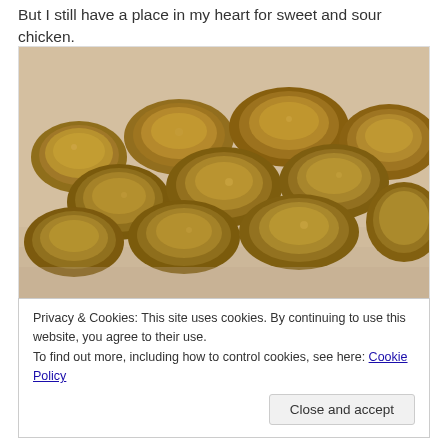But I still have a place in my heart for sweet and sour chicken.
[Figure (photo): Close-up photo of fried sweet and sour chicken pieces piled on a light surface, showing golden-brown crispy battered chunks.]
Privacy & Cookies: This site uses cookies. By continuing to use this website, you agree to their use.
To find out more, including how to control cookies, see here: Cookie Policy
[Close and accept]